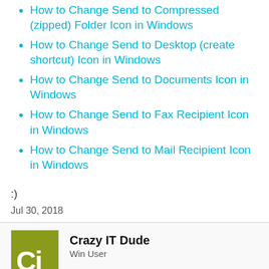How to Change Send to Compressed (zipped) Folder Icon in Windows
How to Change Send to Desktop (create shortcut) Icon in Windows
How to Change Send to Documents Icon in Windows
How to Change Send to Fax Recipient Icon in Windows
How to Change Send to Mail Recipient Icon in Windows
:)
Jul 30, 2018
Crazy IT Dude
Win User